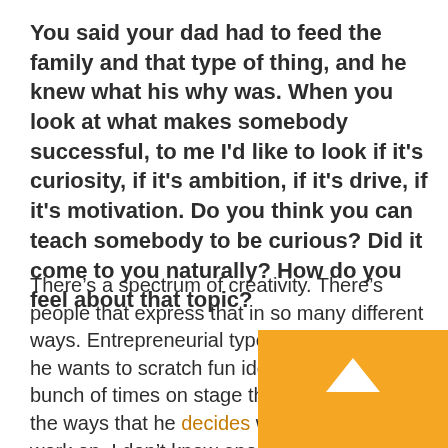You said your dad had to feed the family and that type of thing, and he knew what his why was. When you look at what makes somebody successful, to me I'd like to look if it's curiosity, if it's ambition, if it's drive, if it's motivation. Do you think you can teach somebody to be curious? Did it come to you naturally? How do you feel about that topic?
There's a spectrum of creativity. There's people that express that in so many different ways. Entrepreneurial types like Elon Musk, he wants to scratch fun ideas. He said a bunch of times on stage that math is one of the ways that he decides what projects to work on. I don't know enough about